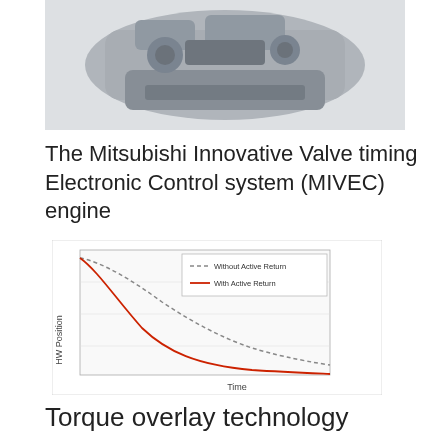[Figure (photo): Mitsubishi MIVEC engine photograph, shown from an angle, grey/silver tones against white background]
The Mitsubishi Innovative Valve timing Electronic Control system (MIVEC) engine
[Figure (line-chart): Line chart showing HW Position vs Time. Two curves: dashed grey line 'Without Active Return' decays slowly, red solid line 'With Active Return' decays faster. Legend in upper right of chart area.]
Torque overlay technology
[Figure (engineering-diagram): Underside/chassis diagram of a Mitsubishi vehicle showing rear differential and Transfer labels with orange callout lines pointing to orange-highlighted drivetrain components. Partial view, cut off at bottom.]
[Figure (infographic): Advertisement banner: SPREAD KINDNESS NOT VIRUS on cream/white background with colorful letters. Small X close button at right. Motortrend logo bottom right.]